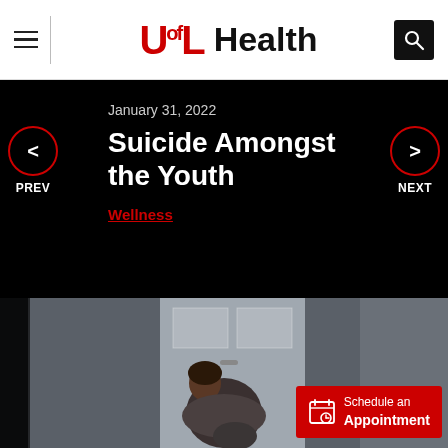UofL Health
January 31, 2022
Suicide Amongst the Youth
Wellness
[Figure (photo): A young woman sitting on the floor hugging herself, leaning against a door, appearing distressed. Another person is partially visible.]
Schedule an Appointment